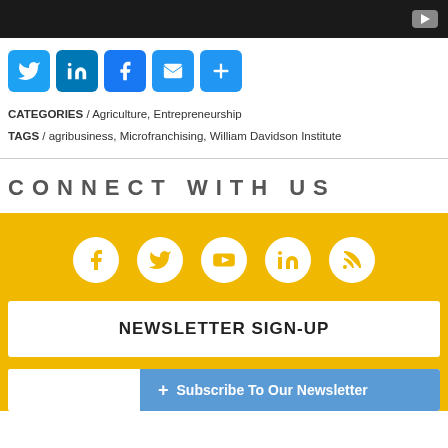[Figure (screenshot): Video player bar with YouTube play button]
[Figure (infographic): Social share buttons: Twitter, LinkedIn, Facebook, Email, More]
CATEGORIES / Agriculture, Entrepreneurship
TAGS / agribusiness, Microfranchising, William Davidson Institute
CONNECT WITH US
[Figure (infographic): Social media circle icons: Facebook, Twitter, YouTube, LinkedIn, RSS]
NEWSLETTER SIGN-UP
+ Subscribe To Our Newsletter